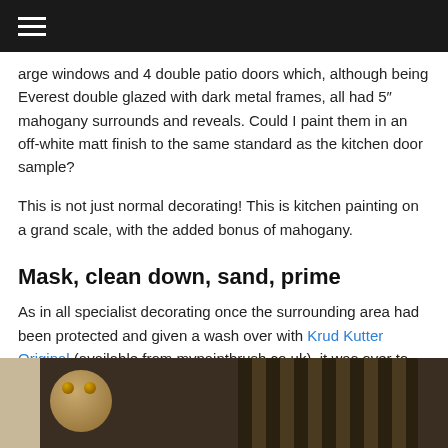≡ (navigation menu icon)
arge windows and 4 double patio doors which, although being Everest double glazed with dark metal frames, all had 5" mahogany surrounds and reveals. Could I paint them in an off-white matt finish to the same standard as the kitchen door sample?
This is not just normal decorating! This is kitchen painting on a grand scale, with the added bonus of mahogany.
Mask, clean down, sand, prime
As in all specialist decorating once the surrounding area had been protected and given a wash over with Krud Kutter Original (available from mypaintbrush.co.uk), it was over to my Festool sanding equipment to do its thing. This is the extractor unit sitting quietly.
[Figure (photo): Photo of a dog with glowing eyes sitting near sanding equipment, dark striped background on right side]